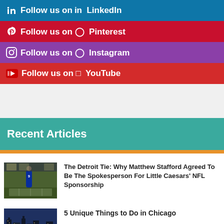Follow us on LinkedIn
Follow us on Pinterest
Follow us on Instagram
Follow us on YouTube
Recent Articles
The Detroit Tie: Why Matthew Stafford Agreed To Be The Spokesperson For Little Caesars' NFL Sponsorship
5 Unique Things to Do in Chicago